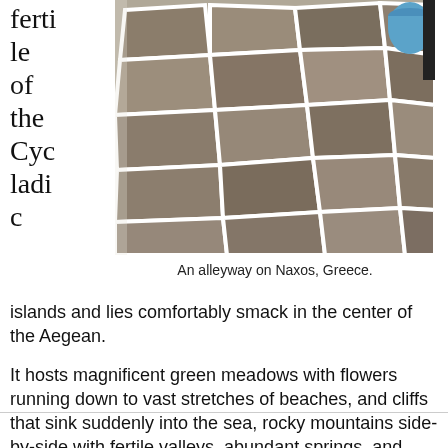fertile of the Cycladic
[Figure (photo): An alleyway with stone-paved floor and whitewashed walls on Naxos, Greece. A blue pot is visible in the upper right corner.]
An alleyway on Naxos, Greece.
islands and lies comfortably smack in the center of the Aegean.
It hosts magnificent green meadows with flowers running down to vast stretches of beaches, and cliffs that sink suddenly into the sea, rocky mountains side-by-side with fertile valleys, abundant springs, and streams.